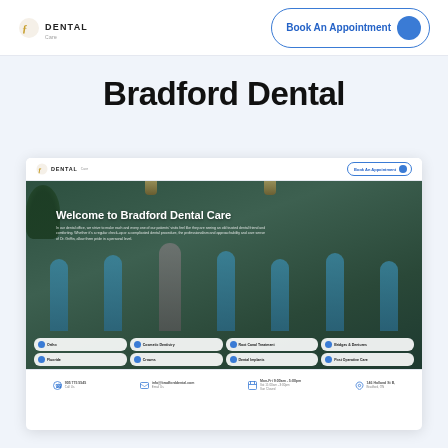Bradford Dental Care — Book An Appointment
Bradford Dental
[Figure (screenshot): Screenshot of Bradford Dental Care website showing the homepage with header navigation, hero section with team photo and 'Welcome to Bradford Dental Care' heading, service buttons (Ortho, Cosmetic Dentistry, Root Canal Treatment, Bridges & Dentures, Fluoride, Crowns, Dental Implants, Post Operative Care), and a contact footer strip.]